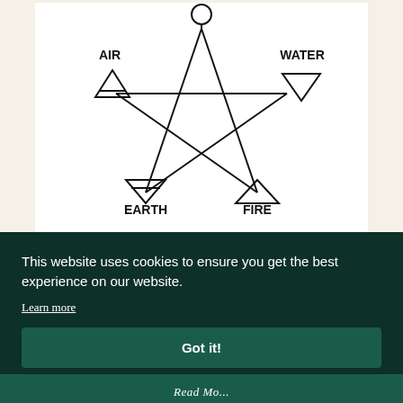[Figure (illustration): Diagram showing a pentagram (five-pointed star) with alchemical/elemental symbols at each point and surrounding it. At the top is a circle (Spirit). Top-left label AIR with an upward triangle with a horizontal line through it (air symbol). Top-right label WATER with a downward triangle (water symbol). Bottom-left label EARTH with a downward triangle with a horizontal line through it (earth symbol). Bottom-right label FIRE with an upward triangle (fire symbol). The pentagon star connects all five points.]
This website uses cookies to ensure you get the best experience on our website.
Learn more
Got it!